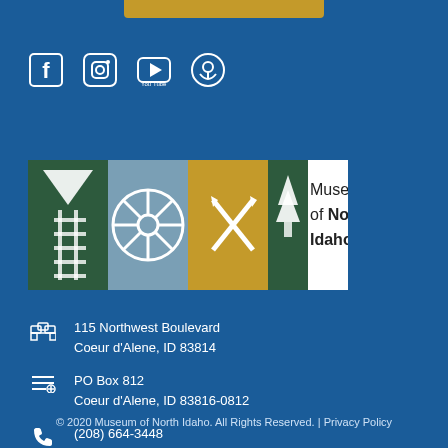[Figure (logo): Gold bar / button at top center]
[Figure (infographic): Social media icons: Facebook, Instagram, YouTube, Podcast]
[Figure (logo): Museum of North Idaho logo with colored panels showing railway, ship wheel, mining cross picks, pine trees]
115 Northwest Boulevard
Coeur d'Alene, ID 83814
PO Box 812
Coeur d'Alene, ID 83816-0812
(208) 664-3448
Email Us
© 2020 Museum of North Idaho. All Rights Reserved. | Privacy Policy